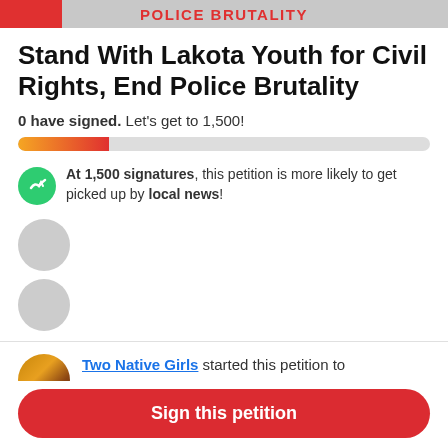POLICE BRUTALITY
Stand With Lakota Youth for Civil Rights, End Police Brutality
0 have signed. Let's get to 1,500!
[Figure (other): Progress bar showing signatures toward goal of 1,500, with orange-to-red gradient fill on approximately 22% of the bar]
At 1,500 signatures, this petition is more likely to get picked up by local news!
Two Native Girls started this petition to Department of Justice and 3 others
On October 23, 2019, two Lakota school girls were
Sign this petition